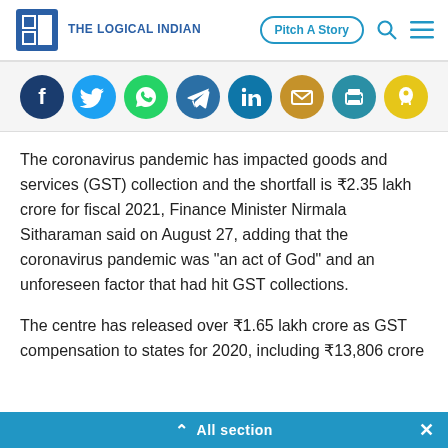The Logical Indian — Pitch A Story
[Figure (other): Social sharing icons row: Facebook, Twitter, WhatsApp, Telegram, LinkedIn, Email, Print, Koo]
The coronavirus pandemic has impacted goods and services (GST) collection and the shortfall is ₹2.35 lakh crore for fiscal 2021, Finance Minister Nirmala Sitharaman said on August 27, adding that the coronavirus pandemic was "an act of God" and an unforeseen factor that had hit GST collections.
The centre has released over ₹1.65 lakh crore as GST compensation to states for 2020, including ₹13,806 crore f…
⌃  All section